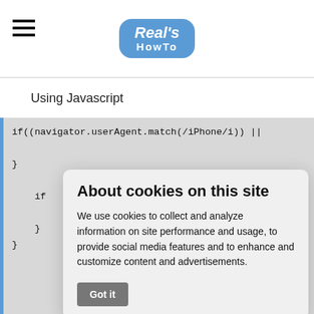Real's HowTo
Using Javascript
[Figure (screenshot): Code block showing JavaScript if statement with navigator.userAgent.match(/iPhone/i)]
It's...  redi...
About cookies on this site
We use cookies to collect and analyze information on site performance and usage, to provide social media features and to enhance and customize content and advertisements.
Got it